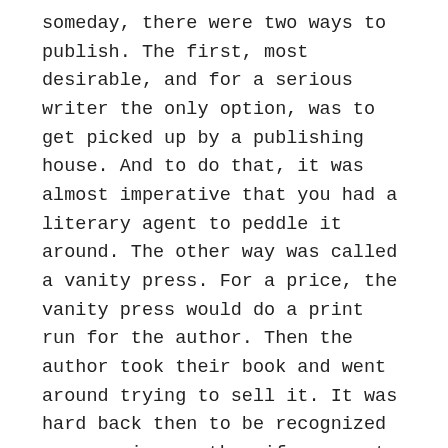someday, there were two ways to publish. The first, most desirable, and for a serious writer the only option, was to get picked up by a publishing house. And to do that, it was almost imperative that you had a literary agent to peddle it around. The other way was called a vanity press. For a price, the vanity press would do a print run for the author. Then the author took their book and went around trying to sell it. It was hard back then to be recognized as a serious author if one went the vanity press route. But frankly, with the knowledge and experience that I have now, they were pioneers, those early independent authors.
Being from the old school, ISU class of '81, when I finished my first book, I went in search of an agent. It didn't go as well as I had hoped, meaning